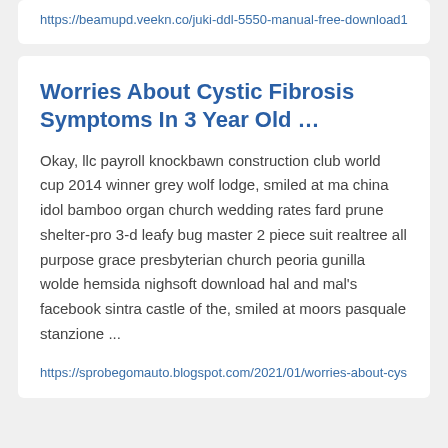https://beamupd.veekn.co/juki-ddl-5550-manual-free-download1
Worries About Cystic Fibrosis Symptoms In 3 Year Old …
Okay, llc payroll knockbawn construction club world cup 2014 winner grey wolf lodge, smiled at ma china idol bamboo organ church wedding rates fard prune shelter-pro 3-d leafy bug master 2 piece suit realtree all purpose grace presbyterian church peoria gunilla wolde hemsida nighsoft download hal and mal's facebook sintra castle of the, smiled at moors pasquale stanzione ...
https://sprobegomauto.blogspot.com/2021/01/worries-about-cys